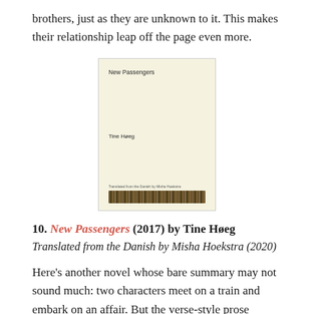brothers, just as they are unknown to it. This makes their relationship leap off the page even more.
[Figure (illustration): Book cover of 'New Passengers' by Tine Høeg, cream/yellow background with title at top, author name in middle, and decorative bar at bottom.]
10. New Passengers (2017) by Tine Høeg
Translated from the Danish by Misha Hoekstra (2020)
Here's another novel whose bare summary may not sound much: two characters meet on a train and embark on an affair. But the verse-style prose